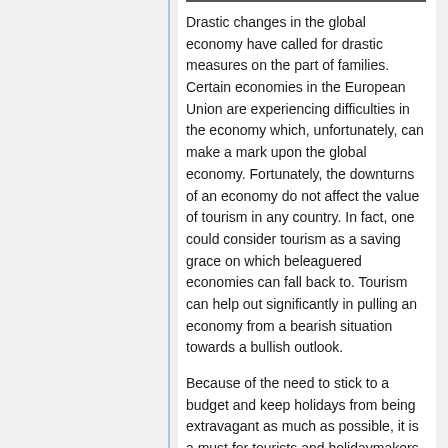Drastic changes in the global economy have called for drastic measures on the part of families. Certain economies in the European Union are experiencing difficulties in the economy which, unfortunately, can make a mark upon the global economy. Fortunately, the downturns of an economy do not affect the value of tourism in any country. In fact, one could consider tourism as a saving grace on which beleaguered economies can fall back to. Tourism can help out significantly in pulling an economy from a bearish situation towards a bullish outlook.
Because of the need to stick to a budget and keep holidays from being extravagant as much as possible, it is a must for tourists and holidaymakers to